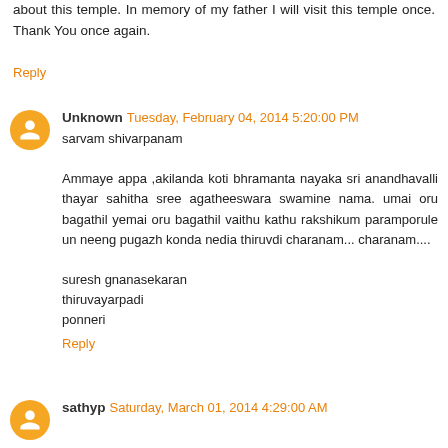about this temple. In memory of my father I will visit this temple once. Thank You once again.
Reply
Unknown  Tuesday, February 04, 2014 5:20:00 PM
sarvam shivarpanam

Ammaye appa ,akilanda koti bhramanta nayaka sri anandhavalli thayar sahitha sree agatheeswara swamine nama. umai oru bagathil yemai oru bagathil vaithu kathu rakshikum paramporule un neeng pugazh konda nedia thiruvdi charanam... charanam....

suresh gnanasekaran
thiruvayarpadi
ponneri
Reply
sathyp  Saturday, March 01, 2014 4:29:00 AM